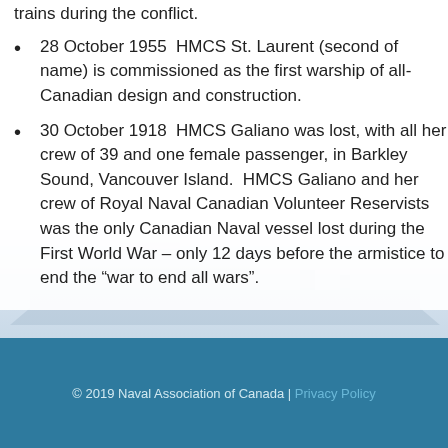trains during the conflict.
28 October 1955  HMCS St. Laurent (second of name) is commissioned as the first warship of all-Canadian design and construction.
30 October 1918  HMCS Galiano was lost, with all her crew of 39 and one female passenger, in Barkley Sound, Vancouver Island.  HMCS Galiano and her crew of Royal Naval Canadian Volunteer Reservists was the only Canadian Naval vessel lost during the First World War – only 12 days before the armistice to end the “war to end all wars”.
© 2019 Naval Association of Canada | Privacy Policy